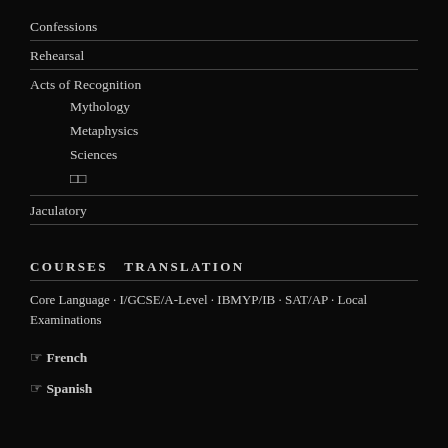Confessions
Rehearsal
Acts of Recognition
Mythology
Metaphysics
Sciences
□□
Jaculatory
COURSES & TRANSLATION
Core Language · I/GCSE/A-Level · IBMYP/IB · SAT/AP · Local Examinations
☞ French
☞ Spanish